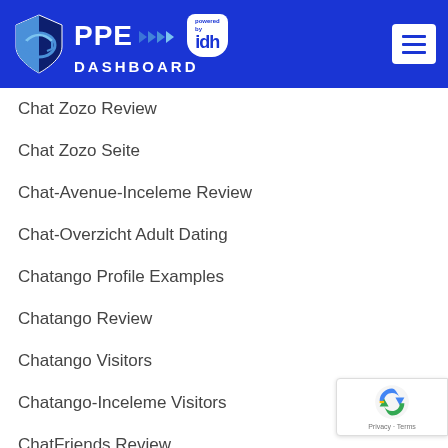[Figure (logo): PPE Dashboard powered by IDH logo with blue shield icon and hamburger menu on dark blue header background]
Chat Zozo Review
Chat Zozo Seite
Chat-Avenue-Inceleme Review
Chat-Overzicht Adult Dating
Chatango Profile Examples
Chatango Review
Chatango Visitors
Chatango-Inceleme Visitors
ChatFriends Review